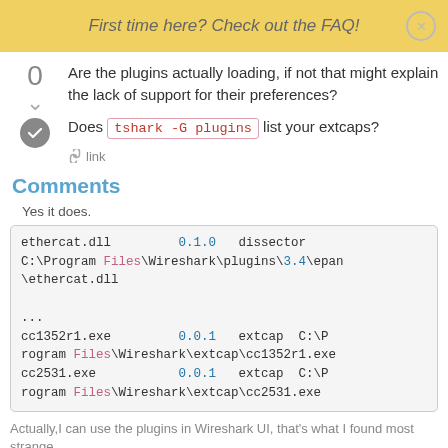First time here? Check out the FAQ!
Are the plugins actually loading, if not that might explain the lack of support for their preferences?
Does tshark -G plugins list your extcaps?
link
Comments
Yes it does.
ethercat.dll    0.1.0    dissector C:\Program Files\Wireshark\plugins\3.4\epan\ethercat.dll
...
cc1352r1.exe    0.0.1    extcap C:\Program Files\Wireshark\extcap\cc1352r1.exe
cc2531.exe    0.0.1    extcap C:\Program Files\Wireshark\extcap\cc2531.exe
Actually,I can use the plugins in Wireshark UI, that's what I found most strange.